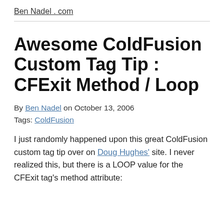Ben Nadel . com
Awesome ColdFusion Custom Tag Tip : CFExit Method / Loop
By Ben Nadel on October 13, 2006
Tags: ColdFusion
I just randomly happened upon this great ColdFusion custom tag tip over on Doug Hughes' site. I never realized this, but there is a LOOP value for the CFExit tag's method attribute: